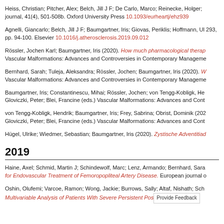Heiss, Christian; Pitcher, Alex; Belch, Jill J F; De Carlo, Marco; Reinecke, Holger; journal, 41(4), 501-508b. Oxford University Press 10.1093/eurheartj/ehz939
Agnelli, Giancarlo; Belch, Jill J F; Baumgartner, Iris; Giovas, Periklis; Hoffmann, Ul 293, pp. 94-100. Elsevier 10.1016/j.atherosclerosis.2019.09.012
Rössler, Jochen Karl; Baumgartner, Iris (2020). How much pharmacological thera Vascular Malformations: Advances and Controversies in Contemporary Manageme
Bernhard, Sarah; Tuleja, Aleksandra; Rössler, Jochen; Baumgartner, Iris (2020). W Vascular Malformations: Advances and Controversies in Contemporary Manageme
Baumgartner, Iris; Constantinescu, Mihai; Rössler, Jochen; von Tengg-Kobligk, He Gloviczki, Peter; Blei, Francine (eds.) Vascular Malformations: Advances and Cont
von Tengg-Kobligk, Hendrik; Baumgartner, Iris; Frey, Sabrina; Obrist, Dominik (202 Gloviczki, Peter; Blei, Francine (eds.) Vascular Malformations: Advances and Cont
Hügel, Ulrike; Wiedmer, Sebastian; Baumgartner, Iris (2020). Zystische Adventitiad
2019
Haine, Axel; Schmid, Martin J; Schindewolf, Marc; Lenz, Armando; Bernhard, Sara for Endovascular Treatment of Femoropopliteal Artery Disease. European journal o
Oshin, Olufemi; Varcoe, Ramon; Wong, Jackie; Burrows, Sally; Altaf, Nishath; Sch Multivariable Analysis of Patients With Severe Persistent Pos [Provide Feedback]